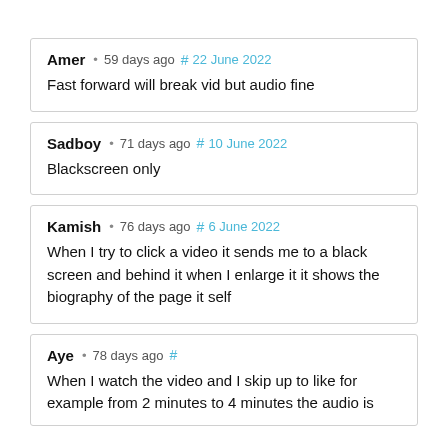Amer · 59 days ago # 22 June 2022
Fast forward will break vid but audio fine
Sadboy · 71 days ago # 10 June 2022
Blackscreen only
Kamish · 76 days ago # 6 June 2022
When I try to click a video it sends me to a black screen and behind it when I enlarge it it shows the biography of the page it self
Aye · 78 days ago #
When I watch the video and I skip up to like for example from 2 minutes to 4 minutes the audio is